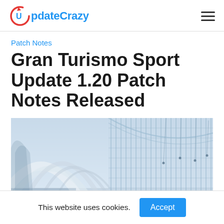UpdateCrazy
Patch Notes
Gran Turismo Sport Update 1.20 Patch Notes Released
[Figure (photo): Interior architectural photo showing a modern building with curved white arches, lattice ceiling structure, and vertical window panels with light streaming through.]
This website uses cookies. Accept